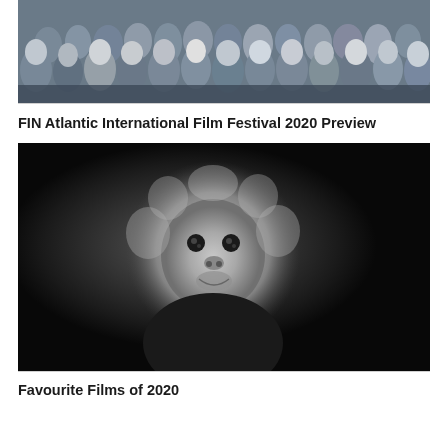[Figure (photo): Crowd of young people marching, possibly a protest or demonstration, outdoor scene with many faces visible]
FIN Atlantic International Film Festival 2020 Preview
[Figure (photo): Black and white close-up portrait of a small monkey with fluffy white fur around its face and large dark eyes, looking directly at the camera]
Favourite Films of 2020